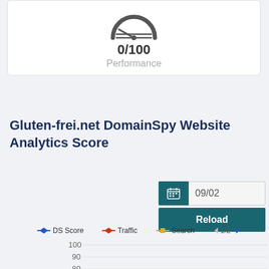[Figure (other): Gauge/speedometer icon showing 0/100 performance score]
0/100
Performance
Gluten-frei.net DomainSpy Website Analytics Score
[Figure (screenshot): Date input with calendar icon showing 09/02 and a Reload button]
[Figure (line-chart): Line chart with legend showing DS Score, Traffic, Search series. Y-axis from 80 to 100. Page 1/2 navigation.]